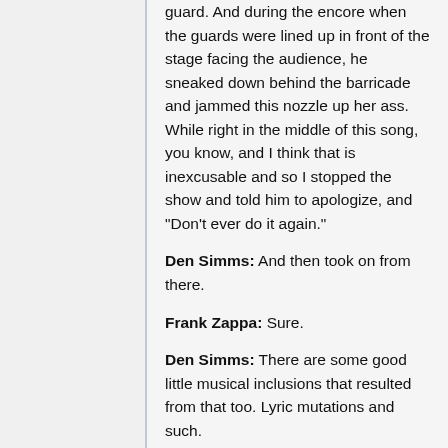guard. And during the encore when the guards were lined up in front of the stage facing the audience, he sneaked down behind the barricade and jammed this nozzle up her ass. While right in the middle of this song, you know, and I think that is inexcusable and so I stopped the show and told him to apologize, and "Don't ever do it again."
Den Simms: And then took on from there.
Frank Zappa: Sure.
Den Simms: There are some good little musical inclusions that resulted from that too. Lyric mutations and such.
Frank Zappa: Yeah.
Den Simms: What's a "Screaming Albanian Jizz-Weasel"?